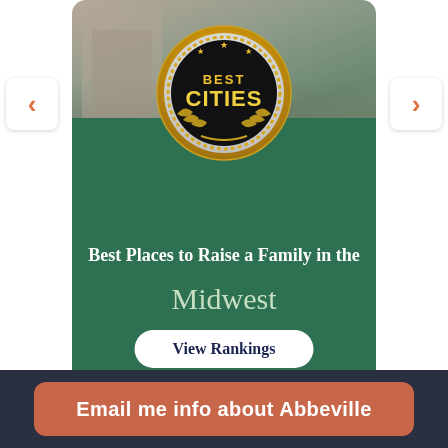[Figure (screenshot): Screenshot of a web page showing a 'Best Cities' award medallion card for 'Best Places to Raise a Family in the Midwest' on a green card background with a building photo at top. Navigation arrows on left and right sides.]
Best Places to Raise a Family in the Midwest
View Rankings
Email me info about Abbeville